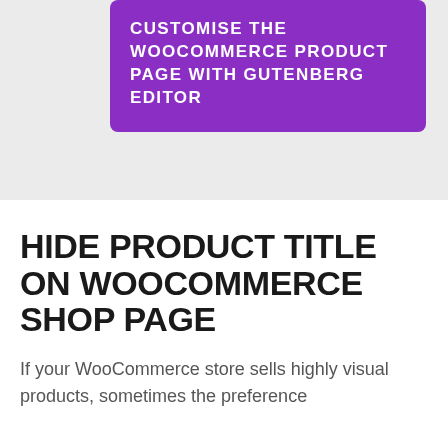CUSTOMISE THE WOOCOMMERCE PRODUCT PAGE WITH GUTENBERG EDITOR
HIDE PRODUCT TITLE ON WOOCOMMERCE SHOP PAGE
If your WooCommerce store sells highly visual products, sometimes the preference